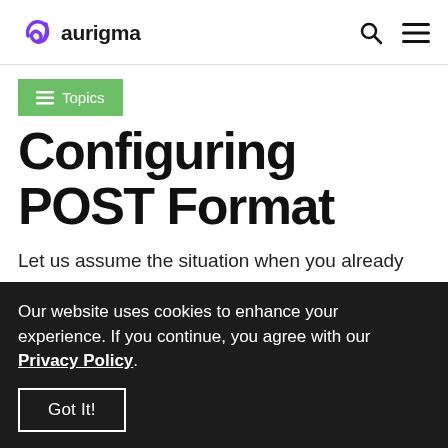aurigma
≡ Topics
Configuring POST Format
Let us assume the situation when you already have a Web site and want to embed ActiveX/Java Uploader in it. For example, your server-side scripts
Our website uses cookies to enhance your experience. If you continue, you agree with our Privacy Policy.
Got It!